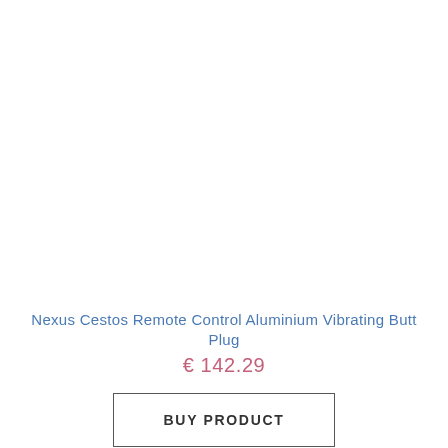Nexus Cestos Remote Control Aluminium Vibrating Butt Plug
€ 142.29
BUY PRODUCT